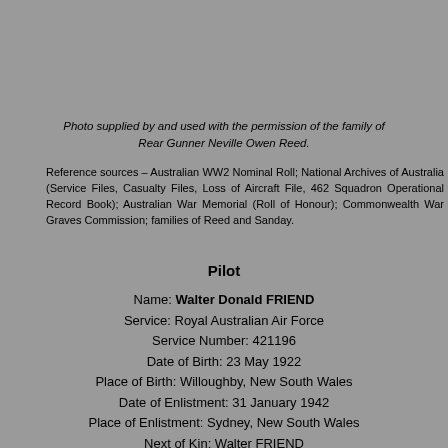Photo supplied by and used with the permission of the family of Rear Gunner Neville Owen Reed.
Reference sources – Australian WW2 Nominal Roll; National Archives of Australia (Service Files, Casualty Files, Loss of Aircraft File, 462 Squadron Operational Record Book); Australian War Memorial (Roll of Honour); Commonwealth War Graves Commission; families of Reed and Sanday.
Pilot
Name: Walter Donald FRIEND
Service: Royal Australian Air Force
Service Number: 421196
Date of Birth: 23 May 1922
Place of Birth: Willoughby, New South Wales
Date of Enlistment: 31 January 1942
Place of Enlistment: Sydney, New South Wales
Next of Kin: Walter FRIEND
Date of Discharge: 12 September 1945
Rank at Discharge: Flying Officer
Posting at Discharge: Air Crew Disposal Unit, Keroslov Grange, UK